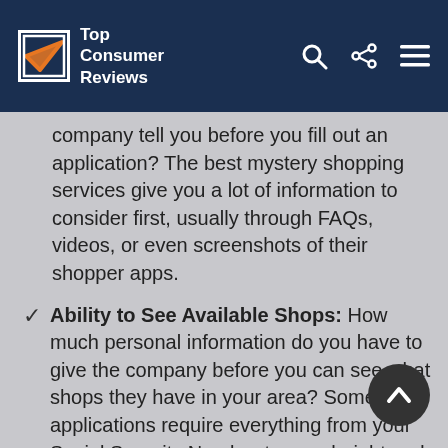Top Consumer Reviews
company tell you before you fill out an application? The best mystery shopping services give you a lot of information to consider first, usually through FAQs, videos, or even screenshots of their shopper apps.
Ability to See Available Shops: How much personal information do you have to give the company before you can see what shops they have in your area? Some applications require everything from your Social Security Number to your height and weight, while others will let you in with just a name, address, and email (though you'll have to complete your profile before you can be assigned to a shop). We appreciate mystery shopping companies who post